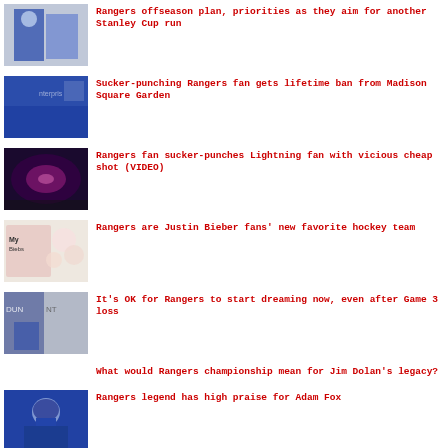Rangers offseason plan, priorities as they aim for another Stanley Cup run
Sucker-punching Rangers fan gets lifetime ban from Madison Square Garden
Rangers fan sucker-punches Lightning fan with vicious cheap shot (VIDEO)
Rangers are Justin Bieber fans’ new favorite hockey team
It’s OK for Rangers to start dreaming now, even after Game 3 loss
What would Rangers championship mean for Jim Dolan’s legacy?
Rangers legend has high praise for Adam Fox